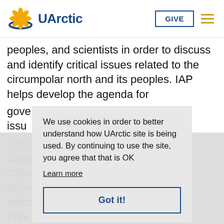UArctic | GIVE
peoples, and scientists in order to discuss and identify critical issues related to the circumpolar north and its peoples. IAP helps develop the agenda for gove... issu...
The I... Strate... critica... provid... advice... from...
We use cookies in order to better understand how UArctic site is being used. By continuing to use the site, you agree that that is OK
Learn more
Got it!